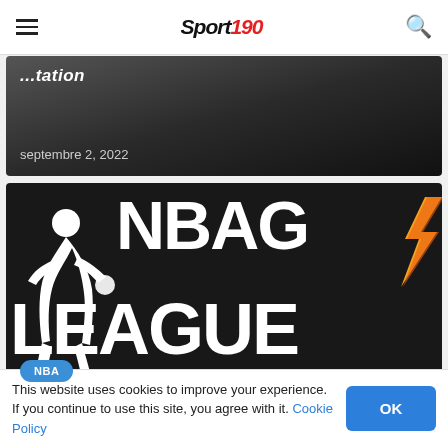Sport 190 — navigation bar with hamburger menu and search icon
[Figure (photo): Dark sports article card partially visible, showing italic bold text and date 'septembre 2, 2022']
septembre 2, 2022
[Figure (logo): NBA G League logo on black background — NBA player silhouette on left, large bold text 'NBA G' on top row and 'LEAGU' on bottom row (partially cropped), with Gatorade lightning bolt logo on right]
NBA
This website uses cookies to improve your experience. If you continue to use this site, you agree with it. Cookie Policy